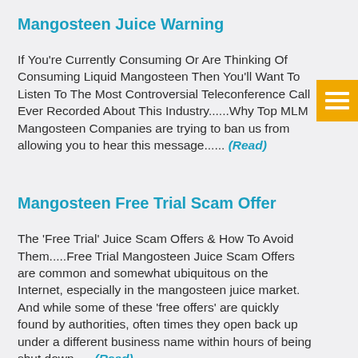Mangosteen Juice Warning
If You're Currently Consuming Or Are Thinking Of Consuming Liquid Mangosteen Then You'll Want To Listen To The Most Controversial Teleconference Call Ever Recorded About This Industry......Why Top MLM Mangosteen Companies are trying to ban us from allowing you to hear this message...... (Read)
Mangosteen Free Trial Scam Offer
The 'Free Trial' Juice Scam Offers & How To Avoid Them.....Free Trial Mangosteen Juice Scam Offers are common and somewhat ubiquitous on the Internet, especially in the mangosteen juice market. And while some of these 'free offers' are quickly found by authorities, often times they open back up under a different business name within hours of being shut down..... (Read)
Mangosteen Proprietary Blend
Proprietary blends are not inherently a negative for the